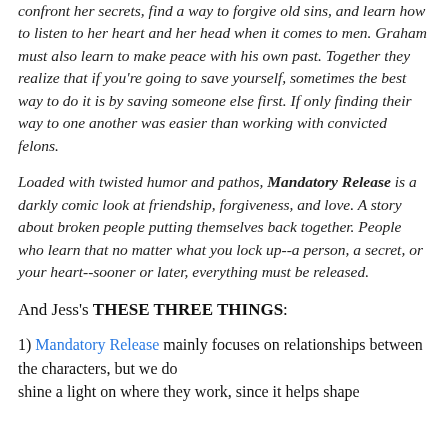confront her secrets, find a way to forgive old sins, and learn how to listen to her heart and her head when it comes to men. Graham must also learn to make peace with his own past. Together they realize that if you're going to save yourself, sometimes the best way to do it is by saving someone else first. If only finding their way to one another was easier than working with convicted felons.
Loaded with twisted humor and pathos, Mandatory Release is a darkly comic look at friendship, forgiveness, and love. A story about broken people putting themselves back together. People who learn that no matter what you lock up--a person, a secret, or your heart--sooner or later, everything must be released.
And Jess's THESE THREE THINGS:
1) Mandatory Release mainly focuses on relationships between the characters, but we do shine a light on where they work, since it helps shape...